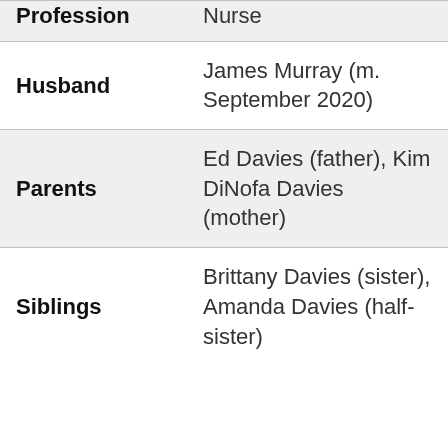| Field | Value |
| --- | --- |
| Profession | Nurse |
| Husband | James Murray (m. September 2020) |
| Parents | Ed Davies (father), Kim DiNofa Davies (mother) |
| Siblings | Brittany Davies (sister), Amanda Davies (half-sister) |